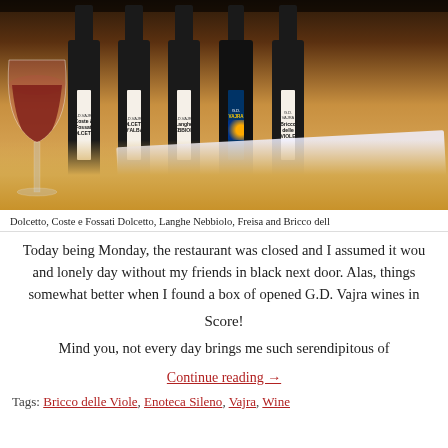[Figure (photo): Photo of several G.D. Vajra wine bottles lined up on a wooden table next to a wine glass with red wine and a notepad]
Dolcetto, Coste e Fossati Dolcetto, Langhe Nebbiolo, Freisa and Bricco dell
Today being Monday, the restaurant was closed and I assumed it wou and lonely day without my friends in black next door. Alas, things somewhat better when I found a box of opened G.D. Vajra wines in
Score!
Mind you, not every day brings me such serendipitous of
Continue reading →
Tags: Bricco delle Viole, Enoteca Sileno, Vajra, Wine